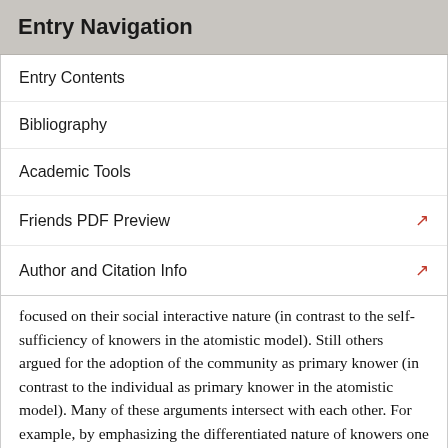Entry Navigation
Entry Contents
Bibliography
Academic Tools
Friends PDF Preview
Author and Citation Info
focused on their social interactive nature (in contrast to the self-sufficiency of knowers in the atomistic model). Still others argued for the adoption of the community as primary knower (in contrast to the individual as primary knower in the atomistic model). Many of these arguments intersect with each other. For example, by emphasizing the differentiated nature of knowers one strengthens the argument for the epistemic interdependence of knowers; interaction between knowers becomes crucial so that individuals can access knowledge beyond the reach of their specific social location. Since conceptions of